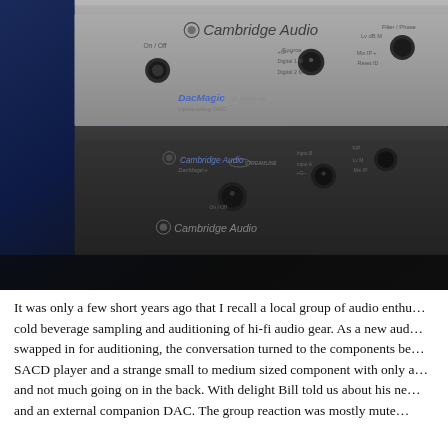[Figure (photo): Photo of two Cambridge Audio DAC units stacked on top of each other. The top unit is a silver/grey Cambridge Audio DacMagic Upsampling DAC with various controls and inputs on the front panel. The bottom unit is a darker Cambridge Audio device. Both are photographed against a dark blue background.]
It was only a few short years ago that I recall a local group of audio enthu... cold beverage sampling and auditioning of hi-fi audio gear.  As a new aud... swapped in for auditioning, the conversation turned to the components be... SACD player and a strange small to medium sized component with only a... and not much going on in the back.  With delight Bill told us about his ne... and an external companion DAC.  The group reaction was mostly mute...